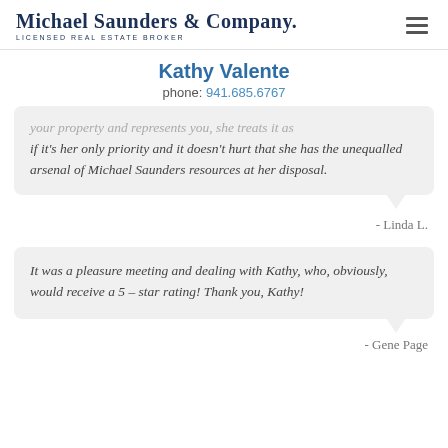Michael Saunders & Company. LICENSED REAL ESTATE BROKER
Kathy Valente
phone: 941.685.6767
your property and represents you, she treats it as if it's her only priority and it doesn't hurt that she has the unequalled arsenal of Michael Saunders resources at her disposal.
- Linda L.
It was a pleasure meeting and dealing with Kathy, who, obviously, would receive a 5 – star rating! Thank you, Kathy!
- Gene Page